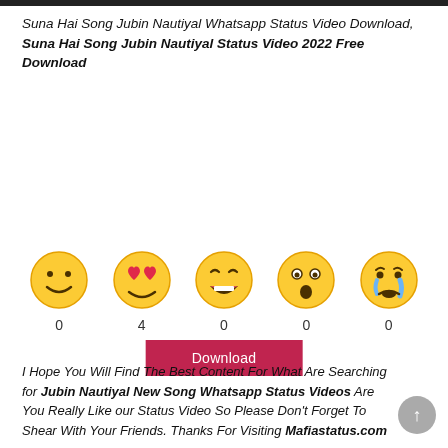Suna Hai Song Jubin Nautiyal Whatsapp Status Video Download, Suna Hai Song Jubin Nautiyal Status Video 2022 Free Download
[Figure (other): Download button — crimson/dark-red rectangular button with white text 'Download']
[Figure (infographic): Row of 5 emoji reaction icons (smiley, heart-eyes, laughing, surprised, crying) with counts 0, 4, 0, 0, 0 below each]
I Hope You Will Find The Best Content For What Are Searching for Jubin Nautiyal New Song Whatsapp Status Videos Are You Really Like our Status Video So Please Don't Forget To Shear With Your Friends. Thanks For Visiting Mafiastatus.com